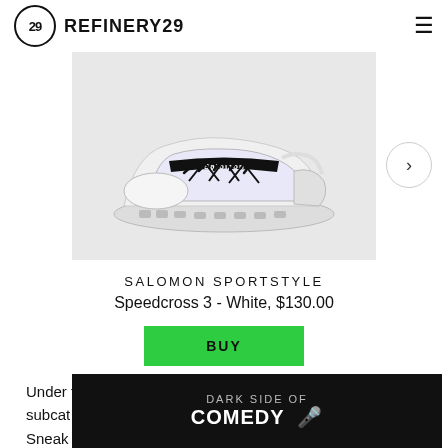REFINERY29
[Figure (photo): White Salomon Sportstyle Speedcross 3 sneaker on light grey background]
SALOMON SPORTSTYLE
Speedcross 3 - White, $130.00
BUY
Under the Sportstyle umbrella, you'll find three subcategories. "The Sneakers category is the majority of our season range –
[Figure (screenshot): Dark side of Comedy advertisement banner]